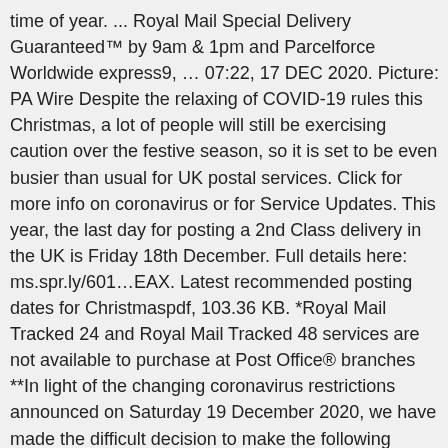time of year. ... Royal Mail Special Delivery Guaranteed™ by 9am & 1pm and Parcelforce Worldwide express9, … 07:22, 17 DEC 2020. Picture: PA Wire Despite the relaxing of COVID-19 rules this Christmas, a lot of people will still be exercising caution over the festive season, so it is set to be even busier than usual for UK postal services. Click for more info on coronavirus or for Service Updates. This year, the last day for posting a 2nd Class delivery in the UK is Friday 18th December. Full details here: ms.spr.ly/601…EAX. Latest recommended posting dates for Christmaspdf, 103.36 KB. *Royal Mail Tracked 24 and Royal Mail Tracked 48 services are not available to purchase at Post Office® branches **In light of the changing coronavirus restrictions announced on Saturday 19 December 2020, we have made the difficult decision to make the following changes to our timed guarantees for our Special Delivery by 9am and 1pm services: 1. With global coronavirus restrictions expected to be in place over the festive season, Royal Mail is encouraging its customers to post early, to ensure their cards and gifts reach family and friends abroad in time for the big day. Be sure to use clearly labelled